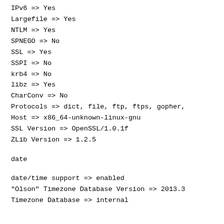IDN => No
IPv6 => Yes
Largefile => Yes
NTLM => Yes
SPNEGO => No
SSL => Yes
SSPI => No
krb4 => No
libz => Yes
CharConv => No
Protocols => dict, file, ftp, ftps, gopher,
Host => x86_64-unknown-linux-gnu
SSL Version => OpenSSL/1.0.1f
ZLib Version => 1.2.5
date
date/time support => enabled
"Olson" Timezone Database Version => 2013.3
Timezone Database => internal